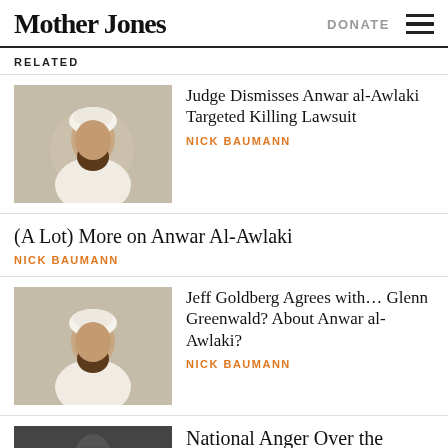Mother Jones | DONATE
RELATED
[Figure (photo): Man in white robe and turban, seated, photo of Anwar al-Awlaki]
Judge Dismisses Anwar al-Awlaki Targeted Killing Lawsuit
NICK BAUMANN
(A Lot) More on Anwar Al-Awlaki
NICK BAUMANN
[Figure (photo): Man in white robe and turban, seated, photo of Anwar al-Awlaki]
Jeff Goldberg Agrees with… Glenn Greenwald? About Anwar al-Awlaki?
NICK BAUMANN
[Figure (photo): Dark image, partially visible]
National Anger Over the